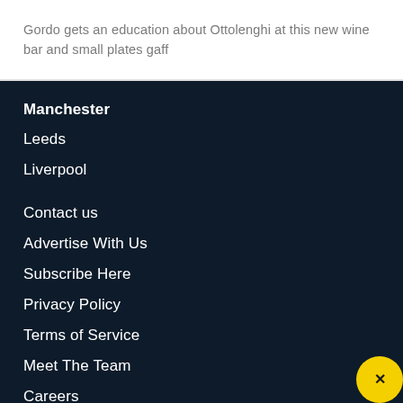Gordo gets an education about Ottolenghi at this new wine bar and small plates gaff
Manchester
Leeds
Liverpool
Contact us
Advertise With Us
Subscribe Here
Privacy Policy
Terms of Service
Meet The Team
Careers